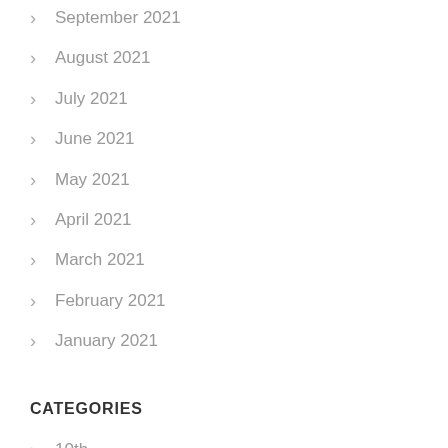September 2021
August 2021
July 2021
June 2021
May 2021
April 2021
March 2021
February 2021
January 2021
CATEGORIES
10th
abraham
action
adam